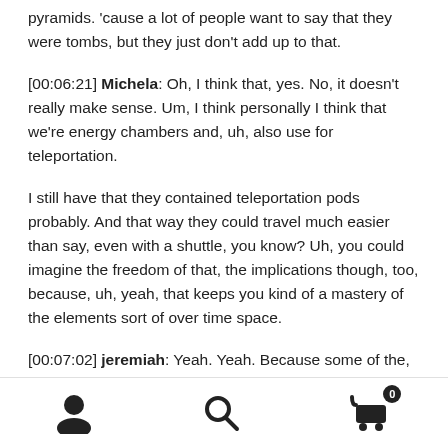pyramids. 'cause a lot of people want to say that they were tombs, but they just don't add up to that.
[00:06:21] Michela: Oh, I think that, yes. No, it doesn't really make sense. Um, I think personally I think that we're energy chambers and, uh, also use for teleportation.
I still have that they contained teleportation pods probably. And that way they could travel much easier than say, even with a shuttle, you know? Uh, you could imagine the freedom of that, the implications though, too, because, uh, yeah, that keeps you kind of a mastery of the elements sort of over time space.
[00:07:02] jeremiah: Yeah. Yeah. Because some of the, the,